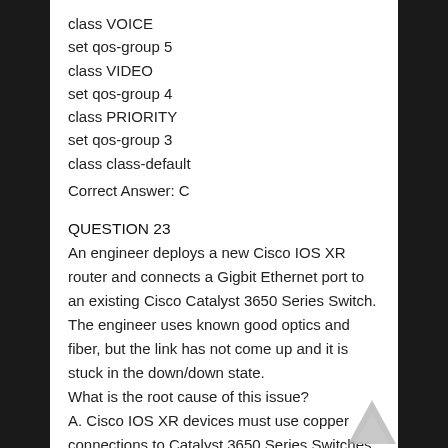class VOICE
set qos-group 5
class VIDEO
set qos-group 4
class PRIORITY
set qos-group 3
class class-default
Correct Answer: C
QUESTION 23
An engineer deploys a new Cisco IOS XR router and connects a Gigbit Ethernet port to an existing Cisco Catalyst 3650 Series Switch. The engineer uses known good optics and fiber, but the link has not come up and it is stuck in the down/down state.
What is the root cause of this issue?
A. Cisco IOS XR devices must use copper connections to Catalyst 3650 Series Switches